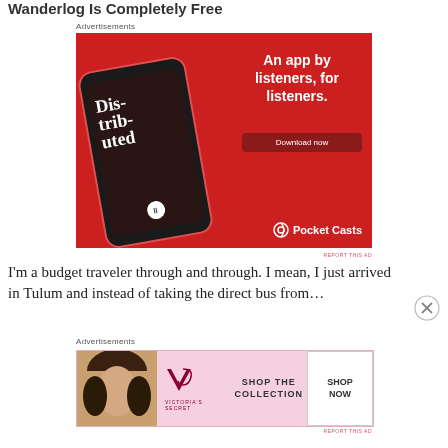Wanderlog Is Completely Free
Advertisements
[Figure (photo): Pocket Casts advertisement. Red background with a smartphone showing a podcast app with text 'Distributed'. Right side shows text 'An app by listeners, for listeners.' with a 'Download now' button and Pocket Casts logo at bottom.]
REPORT THIS AD
I'm a budget traveler through and through. I mean, I just arrived in Tulum and instead of taking the direct bus from…
Advertisements
[Figure (photo): Victoria's Secret advertisement. Pink background with a woman model on the left side, VS logo and brand name in center, text 'SHOP THE COLLECTION' and 'SHOP NOW' button on the right.]
REPORT THIS AD